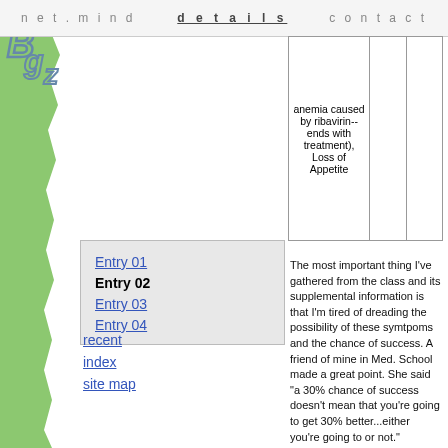net.mind    details    contact
| anemia caused by ribavirin-- ends with treatment), Loss of Appetite |  |  |
Entry 01
Entry 02
Entry 03
Entry 04
The most important thing I've gathered from the class and its supplemental information is that I'm tired of dreading the possibility of these symtpoms and the chance of success. A friend of mine in Med. School made a great point. She said "a 30% chance of success doesn't mean that you're going to get 30% better...either you're going to or not."
I'm determined to succeed. I'm not yet determined to not have any of the symptoms, but I am determined to get determined :) I'm really excited to beat this disease. (Though they say that you can't ever really get rid of it, eradicating all measurable traces of the virus and having it stay gone 10 years later sounds good to me.)
To fight the depression from the treatment, they strongly suggest that I keep (or rather
recent    index    site map